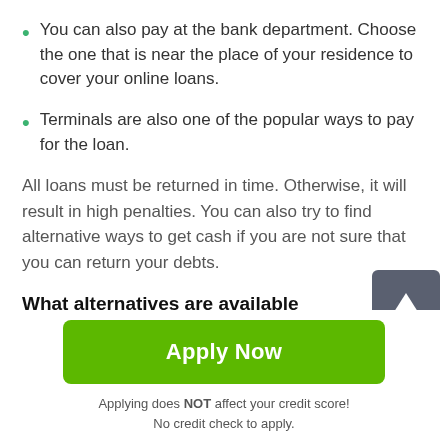You can also pay at the bank department. Choose the one that is near the place of your residence to cover your online loans.
Terminals are also one of the popular ways to pay for the loan.
All loans must be returned in time. Otherwise, it will result in high penalties. You can also try to find alternative ways to get cash if you are not sure that you can return your debts.
What alternatives are available not to take payday loans Ackley online?
As the loaners claim, it's more advantageous to take 24
Apply Now
Applying does NOT affect your credit score!
No credit check to apply.